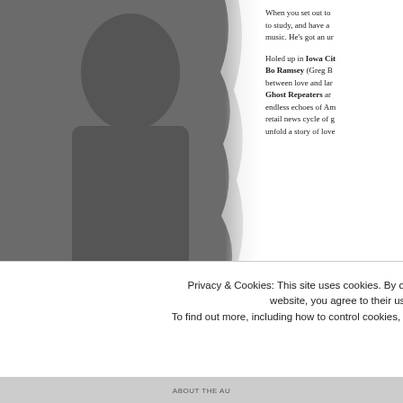[Figure (photo): Dark grey/charcoal photograph of a person, partially visible on the left side of the page, with a ragged torn-paper edge effect on the right side.]
When you set out to study, and have a music. He's got an ur
Holed up in Iowa City, Bo Ramsey (Greg B between love and lan Ghost Repeaters ar endless echoes of Am retail news cycle of g unfold a story of love
[Figure (photo): Small dark thumbnail image showing a person wearing a hat, with circular avatar and text 'Gho' visible — part of album or artist artwork for Ghost Repeaters.]
Privacy & Cookies: This site uses cookies. By continuing to use this website, you agree to their use.
To find out more, including how to control cookies, see here: Cookie Policy
Close and accept
ABOUT THE AU